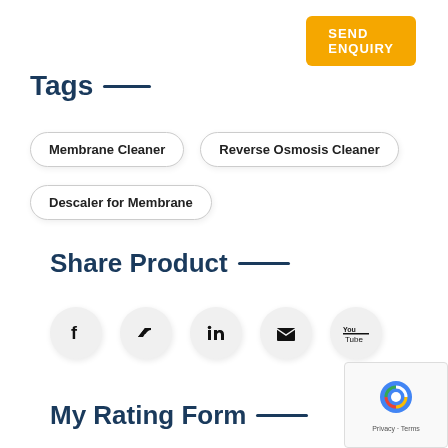SEND ENQUIRY
Tags
Membrane Cleaner
Reverse Osmosis Cleaner
Descaler for Membrane
Share Product
[Figure (infographic): Social media share icons: Facebook, Twitter, LinkedIn, Email, YouTube]
My Rating Form